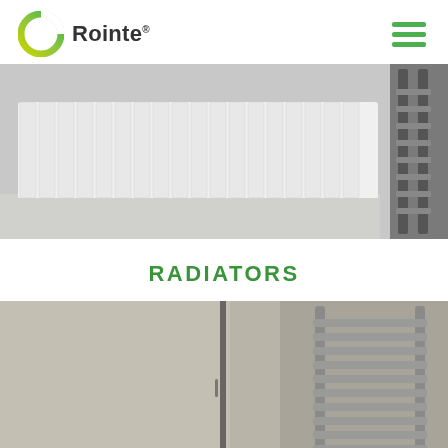Rointe
[Figure (photo): Photo of a white horizontal electric panel radiator mounted on a grey wall, with a chrome towel rail partially visible on the right side.]
RADIATORS
[Figure (photo): Photo of a grey bathroom with a stainless steel ladder/towel radiator mounted on the wall next to a door.]